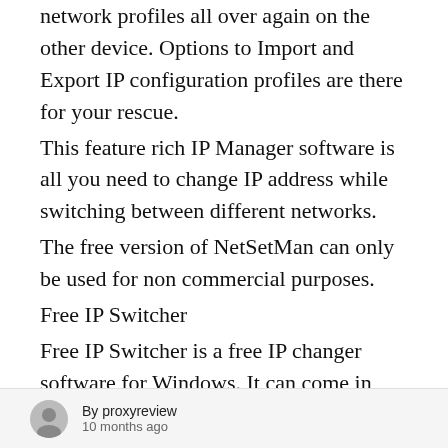network profiles all over again on the other device. Options to Import and Export IP configuration profiles are there for your rescue.
This feature rich IP Manager software is all you need to change IP address while switching between different networks.
The free version of NetSetMan can only be used for non commercial purposes.
Free IP Switcher
Free IP Switcher is a free IP changer software for Windows. It can come in handy if you have to regularly switch your PC/laptop between
By proxyreview  10 months ago